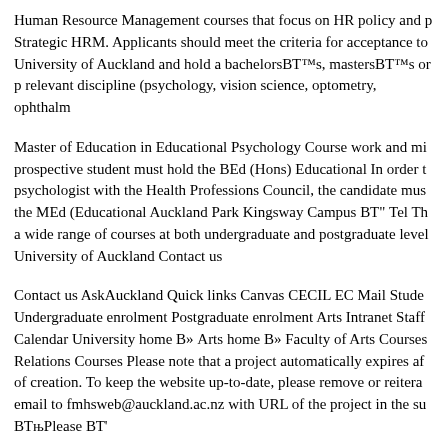Human Resource Management courses that focus on HR policy and Strategic HRM. Applicants should meet the criteria for acceptance to University of Auckland and hold a bachelor’s, master’s or p relevant discipline (psychology, vision science, optometry, ophthalm
Master of Education in Educational Psychology Course work and mi prospective student must hold the BEd (Hons) Educational In order t psychologist with the Health Professions Council, the candidate mus the MEd (Educational Auckland Park Kingsway Campus – Tel Th a wide range of courses at both undergraduate and postgraduate level University of Auckland Contact us
Contact us AskAuckland Quick links Canvas CECIL EC Mail Stude Undergraduate enrolment Postgraduate enrolment Arts Intranet Staff Calendar University home » Arts home » Faculty of Arts Courses Relations Courses Please note that a project automatically expires af of creation. To keep the website up-to-date, please remove or reitera email to fmhsweb@auckland.ac.nz with URL of the project in the su „Please “